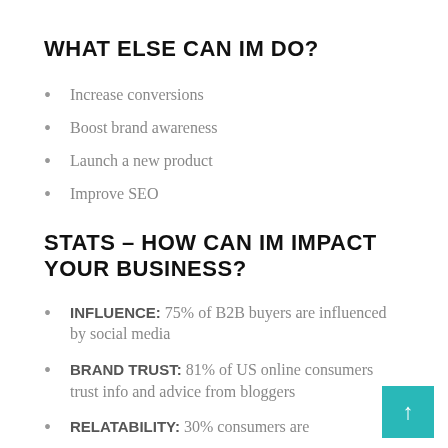WHAT ELSE CAN IM DO?
Increase conversions
Boost brand awareness
Launch a new product
Improve SEO
STATS – HOW CAN IM IMPACT YOUR BUSINESS?
INFLUENCE: 75% of B2B buyers are influenced by social media
BRAND TRUST: 81% of US online consumers trust info and advice from bloggers
RELATABILITY: 30% consumers are